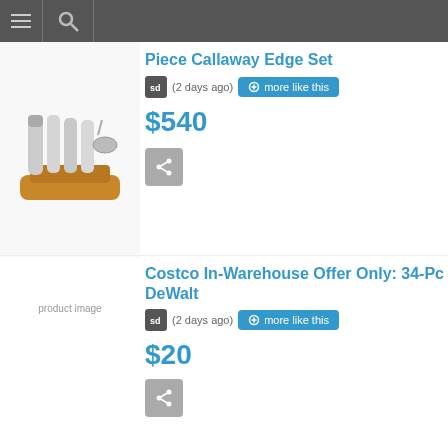Navigation bar with menu and search icons
[Figure (photo): Product image of a bar tool set with stainless steel shakers and tools on a bamboo stand]
Piece Callaway Edge Set
(2 days ago) more like this
$540
[Figure (other): Share button icon]
[Figure (photo): product image placeholder for Costco DeWalt item]
Costco In-Warehouse Offer Only: 34-Pc DeWalt
(2 days ago) more like this
$20
[Figure (other): Share button icon]